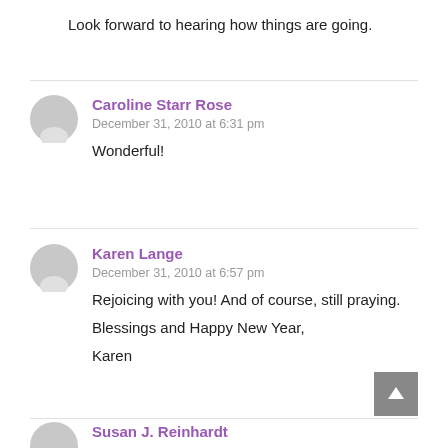Look forward to hearing how things are going.
Caroline Starr Rose
December 31, 2010 at 6:31 pm
Wonderful!
Karen Lange
December 31, 2010 at 6:57 pm
Rejoicing with you! And of course, still praying.
Blessings and Happy New Year,
Karen
Susan J. Reinhardt